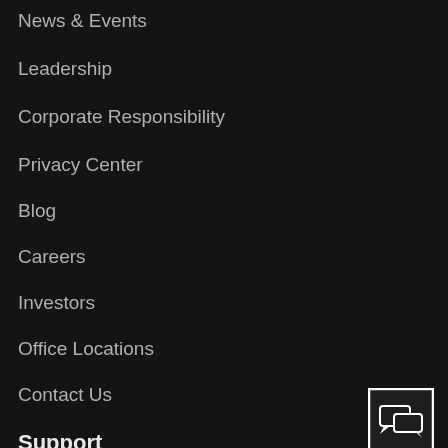News & Events
Leadership
Corporate Responsibility
Privacy Center
Blog
Careers
Investors
Office Locations
Contact Us
Support
[Figure (illustration): Chat/messaging icon in a white-bordered square box]
Get Help